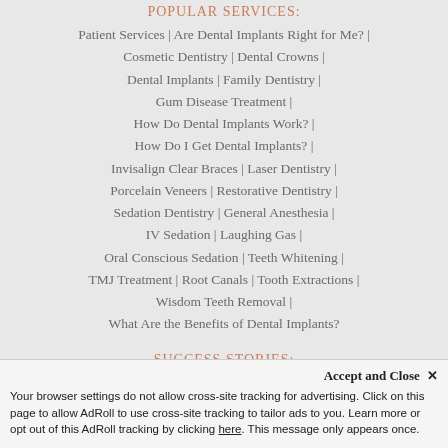POPULAR SERVICES:
Patient Services | Are Dental Implants Right for Me? |
Cosmetic Dentistry | Dental Crowns |
Dental Implants | Family Dentistry |
Gum Disease Treatment |
How Do Dental Implants Work? |
How Do I Get Dental Implants? |
Invisalign Clear Braces | Laser Dentistry |
Porcelain Veneers | Restorative Dentistry |
Sedation Dentistry | General Anesthesia |
IV Sedation | Laughing Gas |
Oral Conscious Sedation | Teeth Whitening |
TMJ Treatment | Root Canals | Tooth Extractions |
Wisdom Teeth Removal |
What Are the Benefits of Dental Implants?
SUCCESS STORIES:
Smile Gallery | What Our Patients Say
Accept and Close ✕
Your browser settings do not allow cross-site tracking for advertising. Click on this page to allow AdRoll to use cross-site tracking to tailor ads to you. Learn more or opt out of this AdRoll tracking by clicking here. This message only appears once.